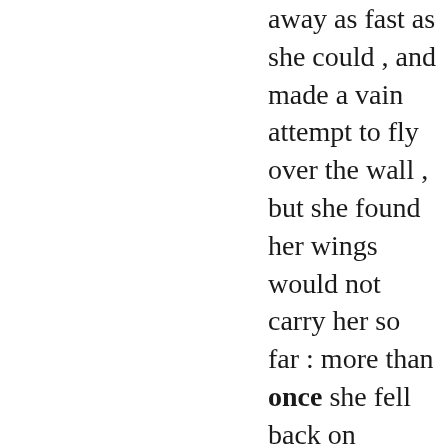away as fast as she could , and made a vain attempt to fly over the wall , but she found her wings would not carry her so far : more than once she fell back on George's flowers , and got her wings and feet ...
❡14❡
He then hastened to his own house , and ordering one of his servants to take a quantity of provisions , returned with him at once to Arthur and his famished little brothers and sisters . He made them all sit down at table , and eat ...
❡17❡
" Well , then , tie the rope round me at once , " the